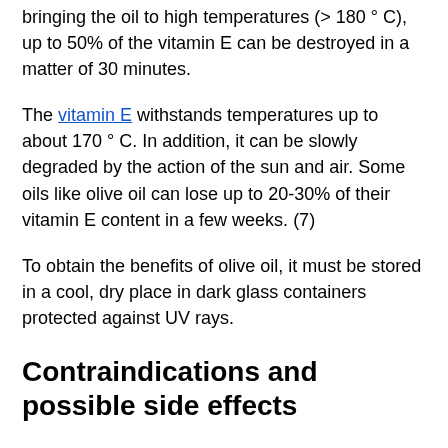bringing the oil to high temperatures (> 180 ° C), up to 50% of the vitamin E can be destroyed in a matter of 30 minutes.
The vitamin E withstands temperatures up to about 170 ° C. In addition, it can be slowly degraded by the action of the sun and air. Some oils like olive oil can lose up to 20-30% of their vitamin E content in a few weeks. (7)
To obtain the benefits of olive oil, it must be stored in a cool, dry place in dark glass containers protected against UV rays.
Contraindications and possible side effects